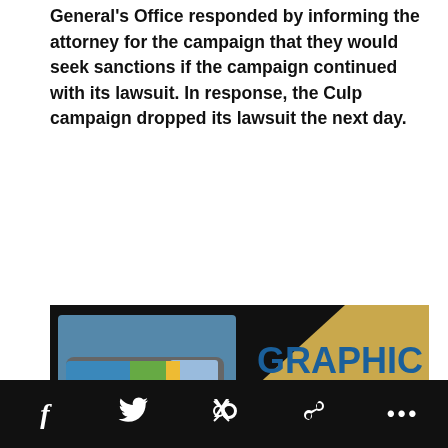General's Office responded by informing the attorney for the campaign that they would seek sanctions if the campaign continued with its lawsuit. In response, the Culp campaign dropped its lawsuit the next day.
[Figure (illustration): Advertisement for DailyFLY Graphic Design services showing a branded van, Stevia product bags, a landscape poster, and text reading 'GRAPHIC DESIGN — Your brand. Your story. DailyFLY' with 'Our Services' in the lower left. Gold, blue, black diagonal diamond layout.]
Social share bar with Facebook, Twitter, link, and more (…) icons